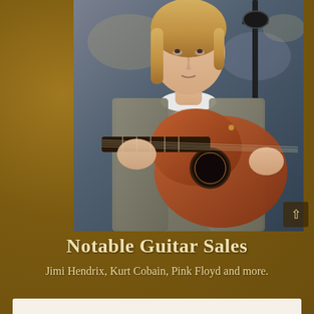[Figure (photo): A musician with long blonde hair wearing a gray fuzzy cardigan over a graphic t-shirt, playing a red-brown acoustic guitar near a microphone stand. The photo appears to depict a grunge-era performer at an acoustic performance.]
Notable Guitar Sales
Jimi Hendrix, Kurt Cobain, Pink Floyd and more.